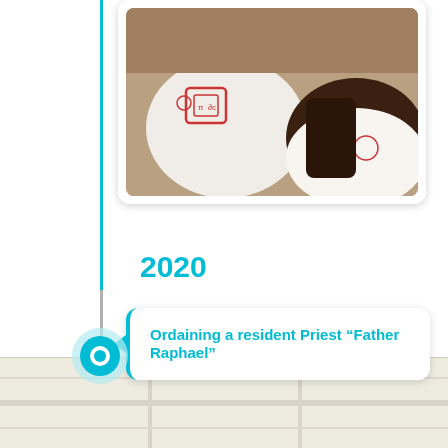[Figure (photo): Partial photo of people wearing white t-shirts with red graphic design, shown in a rounded card on a timeline layout]
2020
Ordaining a resident Priest “Father Raphael”
[Figure (map): A map view shown at the bottom of the page with a location pin marker]